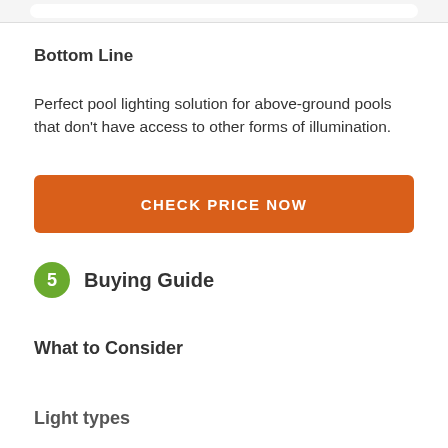Bottom Line
Perfect pool lighting solution for above-ground pools that don't have access to other forms of illumination.
CHECK PRICE NOW
5 Buying Guide
What to Consider
Light types